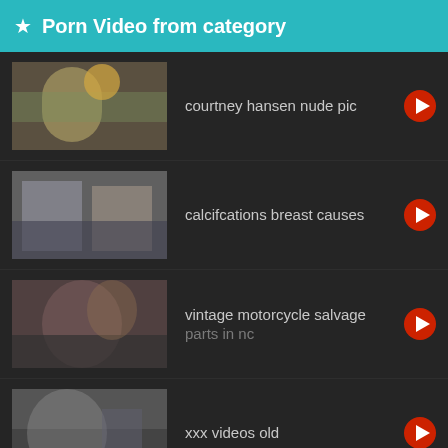★ Porn Video from category
courtney hansen nude pic
calcifcations breast causes
vintage motorcycle salvage parts in nc
xxx videos old
camo girl sex galleries
AmateurMatch  GET LAID TONIGHT!!!